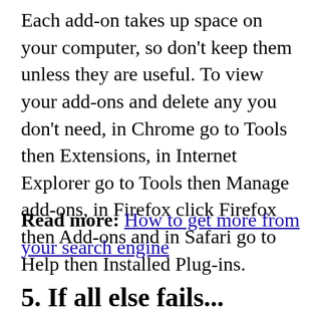Each add-on takes up space on your computer, so don't keep them unless they are useful. To view your add-ons and delete any you don't need, in Chrome go to Tools then Extensions, in Internet Explorer go to Tools then Manage add-ons, in Firefox click Firefox then Add-ons and in Safari go to Help then Installed Plug-ins.
Read more: How to get more from your search engine
5. If all else fails...